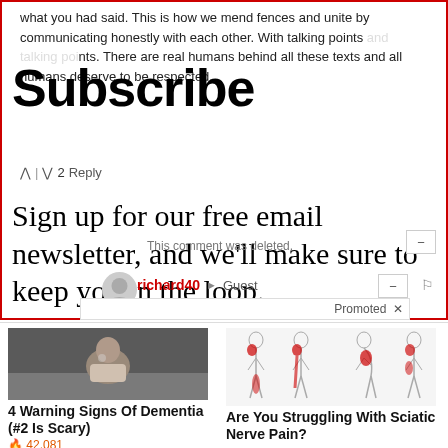what you had said. This is how we mend fences and unite by communicating honestly with each other. With talking points and talking points. There are real humans behind all these texts and all humans deserve to be respected.
Subscribe
^ | v 2 Reply
Sign up for our free email newsletter, and we'll make sure to keep you in the loop.
This comment was deleted.
First Name
richard40 → Guest
a year ago edited
I have to wonder about your incredible self contradictions. In
Promoted ×
[Figure (photo): Person sitting on bed, hunched over]
4 Warning Signs Of Dementia (#2 Is Scary)
🔥 42,081
[Figure (illustration): Medical illustration showing human body outlines with red areas highlighting sciatic nerve pain regions]
Are You Struggling With Sciatic Nerve Pain?